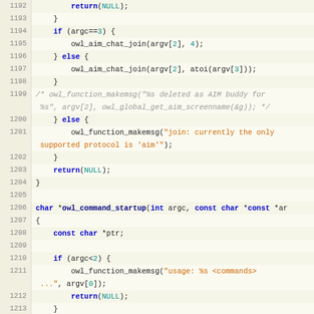[Figure (screenshot): Source code listing in C, lines 1192-1221, showing owl_command_startup and related functions with syntax highlighting]